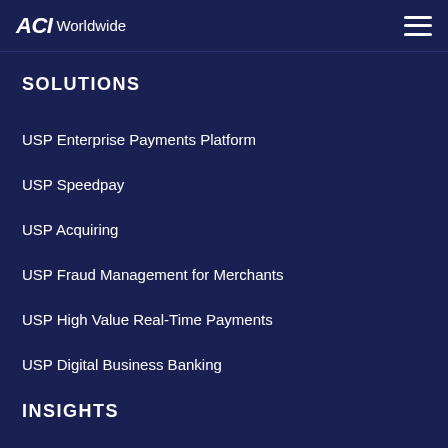ACI Worldwide
SOLUTIONS
USP Enterprise Payments Platform
USP Speedpay
USP Acquiring
USP Fraud Management for Merchants
USP High Value Real-Time Payments
USP Digital Business Banking
INSIGHTS